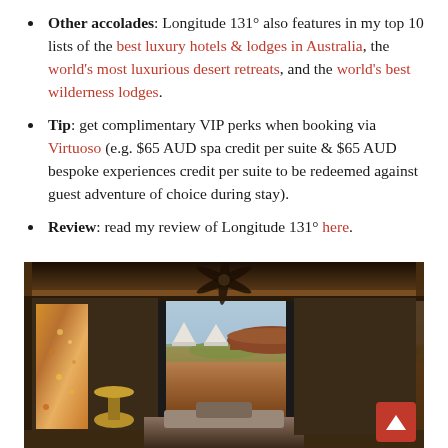Other accolades: Longitude 131° also features in my top 10 lists of the best luxury hotels & lodges in Australia, the world's most luxurious desert retreats, and the world's best wilderness lodges.
Tip: get complimentary VIP perks when booking via Virtuoso (e.g. $65 AUD spa credit per suite & $65 AUD bespoke experiences credit per suite to be redeemed against guest adventure of choice during stay).
Review: read my review of Longitude 131° here.
[Figure (photo): Interior view of a luxury suite at Longitude 131° looking out through large floor-to-ceiling black-framed windows at the Australian outback desert landscape with Uluru visible in the background, white glamping tents visible outside, and a ceiling fan above. Room features warm wood ceiling trim and a bed/seating area in the foreground.]